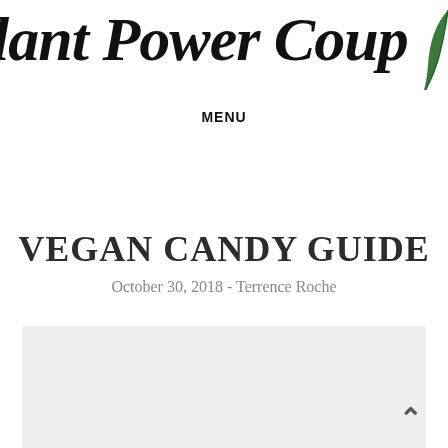lant Power Coup
MENU
VEGAN CANDY GUIDE
October 30, 2018 - Terrence Roche
[Figure (photo): A light grey/beige rectangular image placeholder at the bottom of the page, partially visible.]